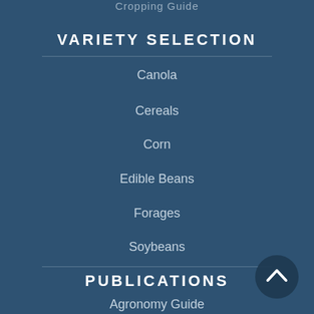Cropping Guide
VARIETY SELECTION
Canola
Cereals
Corn
Edible Beans
Forages
Soybeans
PUBLICATIONS
Agronomy Guide
Crop Protection Guide